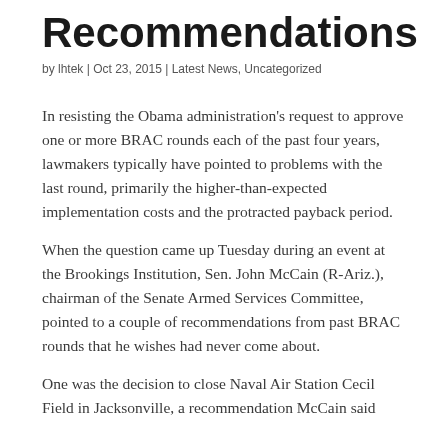Recommendations
by lhtek | Oct 23, 2015 | Latest News, Uncategorized
In resisting the Obama administration's request to approve one or more BRAC rounds each of the past four years, lawmakers typically have pointed to problems with the last round, primarily the higher-than-expected implementation costs and the protracted payback period.
When the question came up Tuesday during an event at the Brookings Institution, Sen. John McCain (R-Ariz.), chairman of the Senate Armed Services Committee, pointed to a couple of recommendations from past BRAC rounds that he wishes had never come about.
One was the decision to close Naval Air Station Cecil Field in Jacksonville, a recommendation McCain said